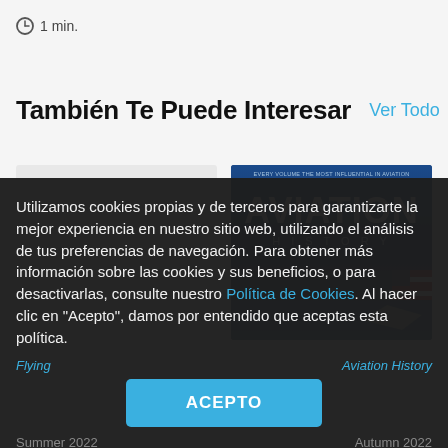1 min.
También Te Puede Interesar
Ver Todo  <  >
[Figure (illustration): Blank grey placeholder card for a magazine]
[Figure (photo): Aviation History magazine cover with bold AVIATION HISTORY text on dark blue background with plane imagery, Autumn 2022]
Utilizamos cookies propias y de terceros para garantizarte la mejor experiencia en nuestro sitio web, utilizando el análisis de tus preferencias de navegación. Para obtener más información sobre las cookies y sus beneficios, o para desactivarlas, consulte nuestro Política de Cookies. Al hacer clic en "Acepto", damos por entendido que aceptas esta política.
ACEPTO
Flying
Aviation History
Summer 2022
Autumn 2022